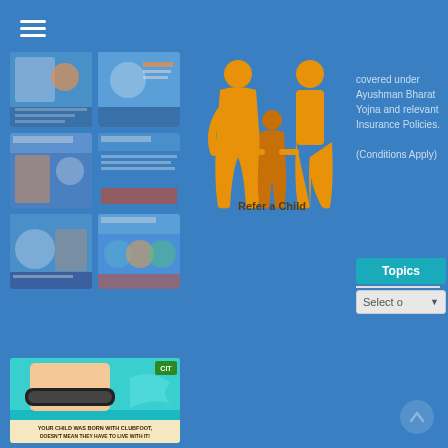[Figure (screenshot): Hamburger menu icon (three white lines)]
[Figure (screenshot): Grid of 6 thumbnail images of health/insurance promotional posters]
[Figure (illustration): Orange family icon (two adults and child) with 'Refer a Child' label]
covered under Ayushman Bharat Yojna and relevant Insurance Policies. (Conditions Apply)
Topics
Select o
[Figure (photo): Photo of a child's foot with clubfoot brace, with text 'YOUR CHILD WAS BORN WITH CLUBFOOT, DOESN'T MEAN THEY HAVE TO LIVE WITH IT!']